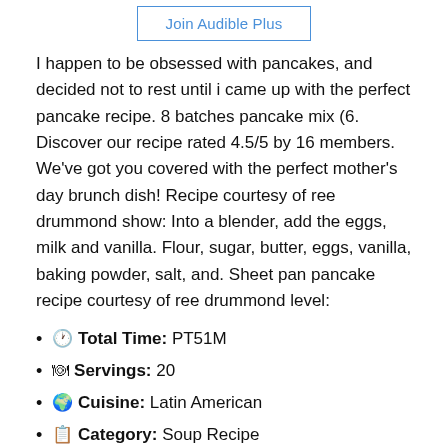[Figure (other): Join Audible Plus button with blue border and blue text]
I happen to be obsessed with pancakes, and decided not to rest until i came up with the perfect pancake recipe. 8 batches pancake mix (6. Discover our recipe rated 4.5/5 by 16 members. We've got you covered with the perfect mother's day brunch dish! Recipe courtesy of ree drummond show: Into a blender, add the eggs, milk and vanilla. Flour, sugar, butter, eggs, vanilla, baking powder, salt, and. Sheet pan pancake recipe courtesy of ree drummond level:
🕐 Total Time: PT51M
🍽 Servings: 20
🌎 Cuisine: Latin American
📋 Category: Soup Recipe
Related Article : pioneer woman pancake recipe